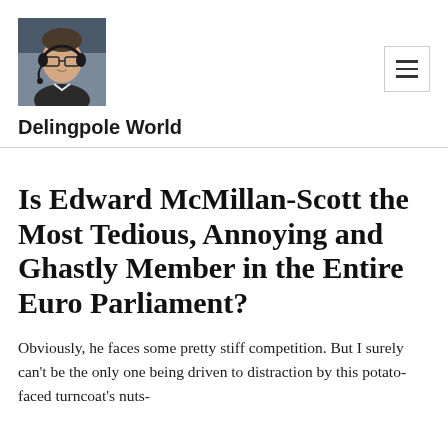[Figure (photo): Profile photo of a man wearing glasses and a pilot/aviation headset, seated inside what appears to be a cockpit or aircraft, wearing a dark jacket over white shirt.]
Delingpole World
Is Edward McMillan-Scott the Most Tedious, Annoying and Ghastly Member in the Entire Euro Parliament?
Obviously, he faces some pretty stiff competition. But I surely can't be the only one being driven to distraction by this potato-faced turncoat's nuts-